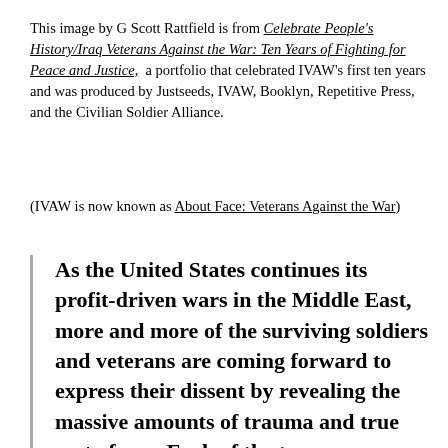This image by G Scott Rattfield is from Celebrate People's History/Iraq Veterans Against the War: Ten Years of Fighting for Peace and Justice, a portfolio that celebrated IVAW's first ten years and was produced by Justseeds, IVAW, Booklyn, Repetitive Press, and the Civilian Soldier Alliance.
(IVAW is now known as About Face: Veterans Against the War)
As the United States continues its profit-driven wars in the Middle East, more and more of the surviving soldiers and veterans are coming forward to express their dissent by revealing the massive amounts of trauma and true cost of war. Each of the ten war resisters named are icons of resistance, fighting the good fight and diligently engaging